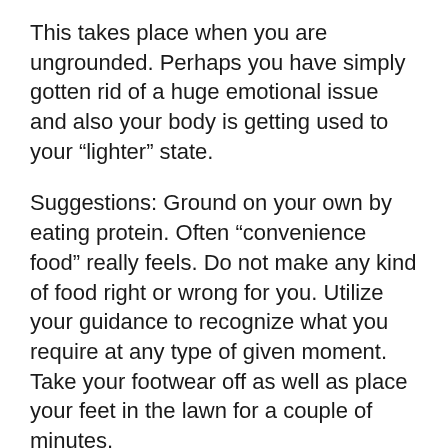This takes place when you are ungrounded. Perhaps you have simply gotten rid of a huge emotional issue and also your body is getting used to your “lighter” state.
Suggestions: Ground on your own by eating protein. Often “convenience food” really feels. Do not make any kind of food right or wrong for you. Utilize your guidance to recognize what you require at any type of given moment. Take your footwear off as well as place your feet in the lawn for a couple of minutes.
10. Memories Resurface.
Body memories, subdued memories, images of past lives and/or parallel lives. We are